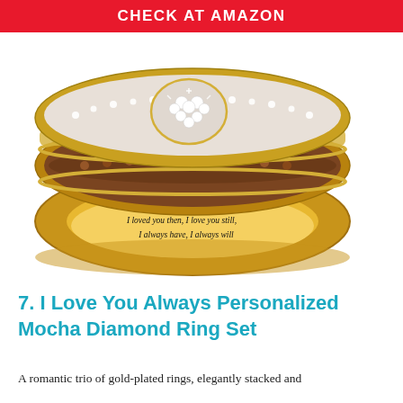CHECK AT AMAZON
[Figure (photo): Gold-plated stacked ring set with mocha and white diamond accents and a heart cluster centerpiece. The bottom ring shows an engraved interior inscription: 'Jacqueline & Montgomery / I loved you then, I love you still, / I always have, I always will']
7. I Love You Always Personalized Mocha Diamond Ring Set
A romantic trio of gold-plated rings, elegantly stacked and